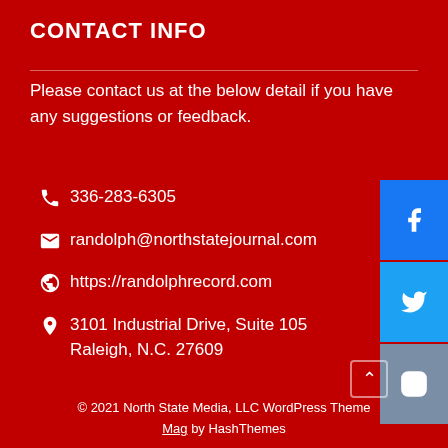CONTACT INFO
Please contact us at the below detail if you have any suggestions or feedback.
336-283-6305
randolph@northstatejournal.com
https://randolphrecord.com
3101 Industrial Drive, Suite 105 Raleigh, N.C. 27609
© 2021 North State Media, LLC WordPress Theme Mag by HashThemes